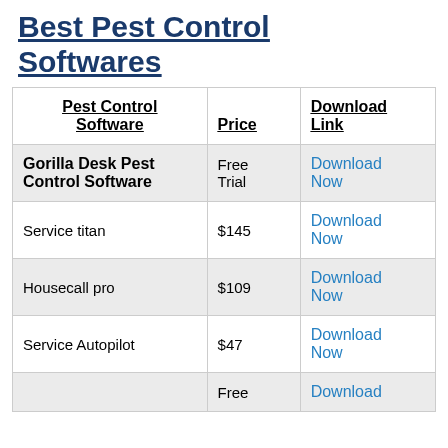Best Pest Control Softwares
| Pest Control Software | Price | Download Link |
| --- | --- | --- |
| Gorilla Desk Pest Control Software | Free Trial | Download Now |
| Service titan | $145 | Download Now |
| Housecall pro | $109 | Download Now |
| Service Autopilot | $47 | Download Now |
| [partial] | Free | Download |